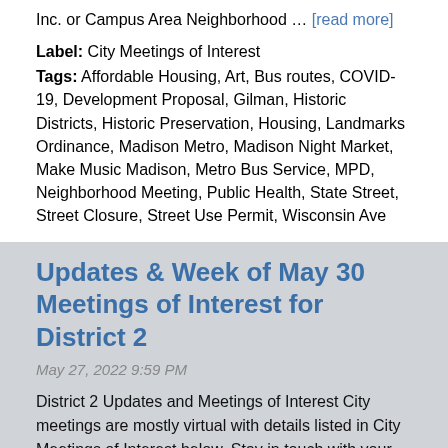Inc. or Campus Area Neighborhood … [read more]
Label: City Meetings of Interest
Tags: Affordable Housing, Art, Bus routes, COVID-19, Development Proposal, Gilman, Historic Districts, Historic Preservation, Housing, Landmarks Ordinance, Madison Metro, Madison Night Market, Make Music Madison, Metro Bus Service, MPD, Neighborhood Meeting, Public Health, State Street, Street Closure, Street Use Permit, Wisconsin Ave
Updates & Week of May 30 Meetings of Interest for District 2
May 27, 2022 9:59 PM
District 2 Updates and Meetings of Interest City meetings are mostly virtual with details listed in City Meetings of Interest below. Stay in touch with your neighbors through either Capitol Neighborhoods, Inc. or Campus Area Neighborhood … [read more]
Label: City Meetings of Interest